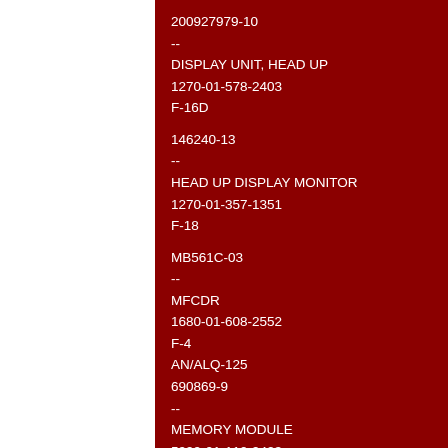200927979-10
--
DISPLAY UNIT, HEAD UP
1270-01-578-2403
F-16D
146240-13
--
HEAD UP DISPLAY MONITOR
1270-01-357-1351
F-18
MB561C-03
--
MFCDR
1680-01-608-2552
F-4
AN/ALQ-125
690869-9
--
MEMORY MODULE
5999-01-110-9423